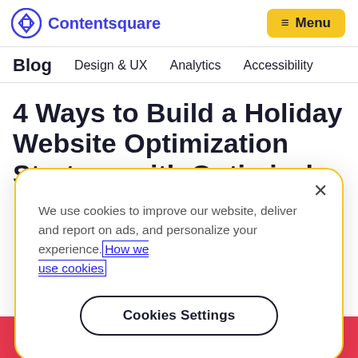Contentsquare | Menu
Blog  Design & UX  Analytics  Accessibility
4 Ways to Build a Holiday Website Optimization Strategy with Optimizely
We use cookies to improve our website, deliver and report on ads, and personalize your experience. How we use cookies
Cookies Settings
Lead Consultant,